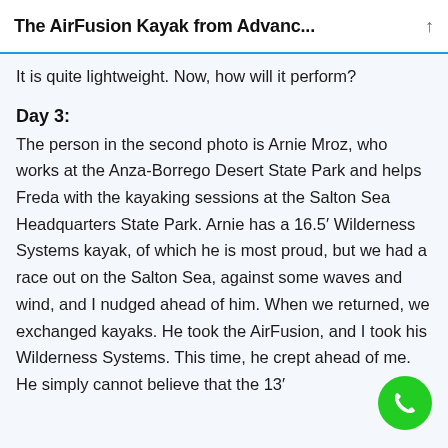The AirFusion Kayak from Advanc...
It is quite lightweight. Now, how will it perform?
Day 3:
The person in the second photo is Arnie Mroz, who works at the Anza-Borrego Desert State Park and helps Freda with the kayaking sessions at the Salton Sea Headquarters State Park. Arnie has a 16.5′ Wilderness Systems kayak, of which he is most proud, but we had a race out on the Salton Sea, against some waves and wind, and I nudged ahead of him. When we returned, we exchanged kayaks. He took the AirFusion, and I took his Wilderness Systems. This time, he crept ahead of me. He simply cannot believe that the 13′